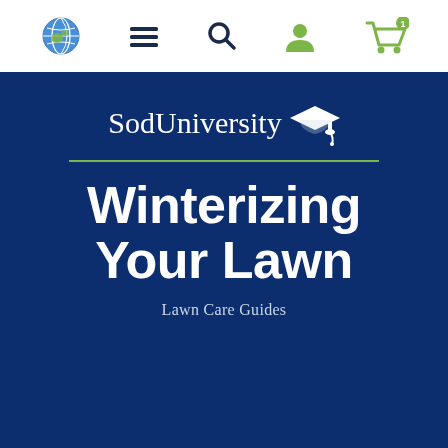Navigation bar with globe, menu, search, user, and cart icons
[Figure (logo): SodUniversity logo with graduation cap icon in white on dark navy background]
Winterizing Your Lawn
Lawn Care Guides